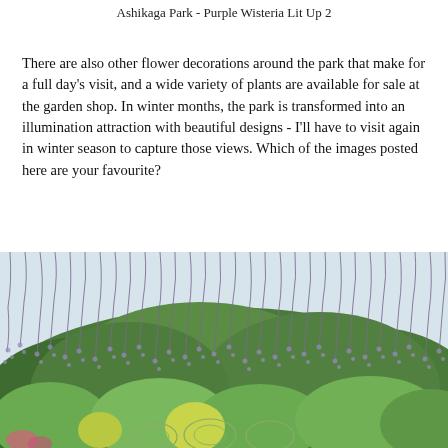Ashikaga Park - Purple Wisteria Lit Up 2
There are also other flower decorations around the park that make for a full day's visit, and a wide variety of plants are available for sale at the garden shop. In winter months, the park is transformed into an illumination attraction with beautiful designs - I'll have to visit again in winter season to capture those views. Which of the images posted here are your favourite?
[Figure (photo): Wisteria hanging down from overhead trellis in foreground with a lush green tree-covered hill and dome-shaped garden structures visible below, under a pale sky.]